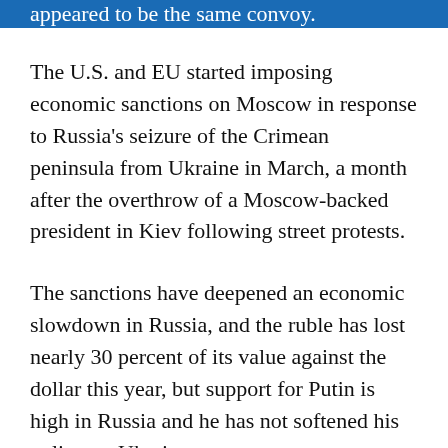appeared to be the same convoy.
The U.S. and EU started imposing economic sanctions on Moscow in response to Russia's seizure of the Crimean peninsula from Ukraine in March, a month after the overthrow of a Moscow-backed president in Kiev following street protests.
The sanctions have deepened an economic slowdown in Russia, and the ruble has lost nearly 30 percent of its value against the dollar this year, but support for Putin is high in Russia and he has not softened his policy on Ukraine.
Alarm is growing in the West at what is increasingly seen as attempts by Putin to keep eastern Ukraine